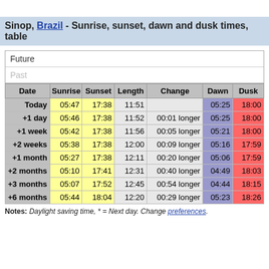Sinop, Brazil - Sunrise, sunset, dawn and dusk times, table
| Date | Sunrise | Sunset | Length | Change | Dawn | Dusk |
| --- | --- | --- | --- | --- | --- | --- |
| Today | 05:47 | 17:38 | 11:51 |  | 05:25 | 18:00 |
| +1 day | 05:46 | 17:38 | 11:52 | 00:01 longer | 05:25 | 18:00 |
| +1 week | 05:42 | 17:38 | 11:56 | 00:05 longer | 05:21 | 18:00 |
| +2 weeks | 05:38 | 17:38 | 12:00 | 00:09 longer | 05:16 | 17:59 |
| +1 month | 05:27 | 17:38 | 12:11 | 00:20 longer | 05:06 | 17:59 |
| +2 months | 05:10 | 17:41 | 12:31 | 00:40 longer | 04:49 | 18:03 |
| +3 months | 05:07 | 17:52 | 12:45 | 00:54 longer | 04:44 | 18:15 |
| +6 months | 05:44 | 18:04 | 12:20 | 00:29 longer | 05:23 | 18:26 |
Notes: Daylight saving time, * = Next day. Change preferences.